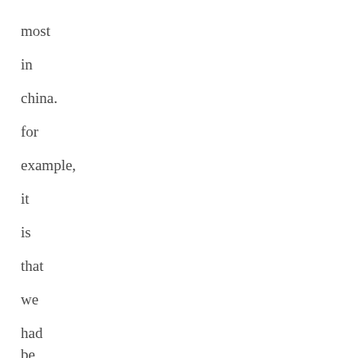most
in
china.
for
example,
it
is
that
we
had
be